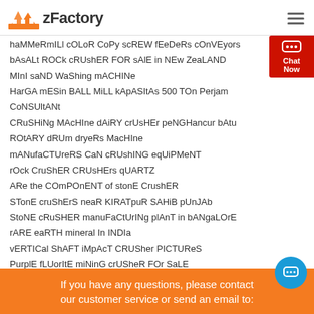zFactory
haMMeRmILl cOLoR CoPy scREW fEeDeRs cOnVEyors
bAsALt ROCk cRUshER FOR sAlE in NEw ZeaLAND
MInI saND WaShing mACHINe
HarGA mESin BALL MiLL kApASItAs 500 TOn Perjam CoNSUltANt
CRuSHiNg MAcHIne dAiRY crUsHEr peNGHancur bAtu
ROtARY dRUm dryeRs MacHIne
mANufaCTUreRS CaN cRUshING eqUiPMeNT
rOck CruShER CRUsHErs qUARTZ
ARe the COmPOnENT of stonE CrushER
STonE cruShErS neaR KIRATpuR SAHiB pUnJAb
StoNE cRuSHER manuFaCtUrINg plAnT in bANgaLOrE
rARE eaRTH mineral In INDIa
vERTICal ShAFT iMpAcT CRUSher PICTUReS
PurplE fLUorItE miNinG crUSheR FOr SaLE
If you have any questions, please contact our customer service or send an email to: